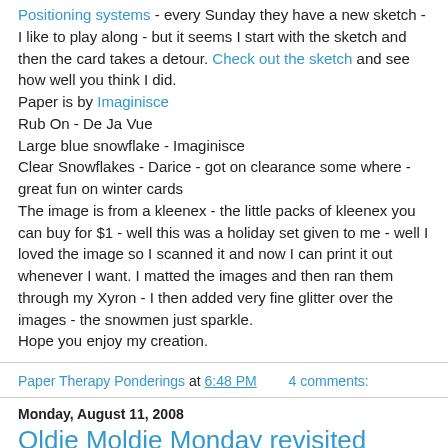Positioning systems - every Sunday they have a new sketch - I like to play along - but it seems I start with the sketch and then the card takes a detour. Check out the sketch and see how well you think I did.
Paper is by Imaginisce
Rub On - De Ja Vue
Large blue snowflake - Imaginisce
Clear Snowflakes - Darice - got on clearance some where - great fun on winter cards
The image is from a kleenex - the little packs of kleenex you can buy for $1 - well this was a holiday set given to me - well I loved the image so I scanned it and now I can print it out whenever I want. I matted the images and then ran them through my Xyron - I then added very fine glitter over the images - the snowmen just sparkle.
Hope you enjoy my creation.
Paper Therapy Ponderings at 6:48 PM    4 comments:
Monday, August 11, 2008
Oldie Moldie Monday revisited